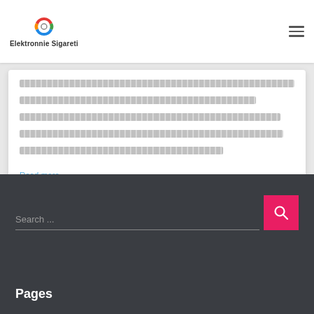Elektronnie Sigareti
[placeholder text lines representing article body content]
Read more...
Search ...
Pages